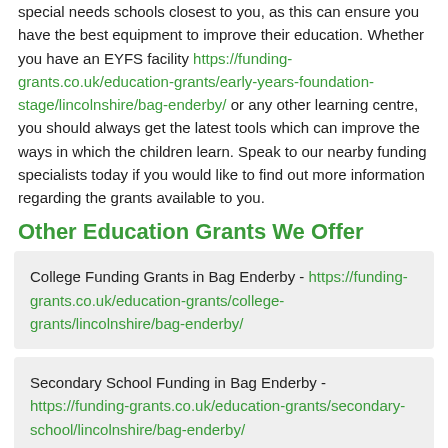special needs schools closest to you, as this can ensure you have the best equipment to improve their education. Whether you have an EYFS facility https://funding-grants.co.uk/education-grants/early-years-foundation-stage/lincolnshire/bag-enderby/ or any other learning centre, you should always get the latest tools which can improve the ways in which the children learn. Speak to our nearby funding specialists today if you would like to find out more information regarding the grants available to you.
Other Education Grants We Offer
College Funding Grants in Bag Enderby - https://funding-grants.co.uk/education-grants/college-grants/lincolnshire/bag-enderby/
Secondary School Funding in Bag Enderby - https://funding-grants.co.uk/education-grants/secondary-school/lincolnshire/bag-enderby/
Nursery Funding Grants in Bag Enderby - https://funding-grants.co.uk/education-grants/early-years-